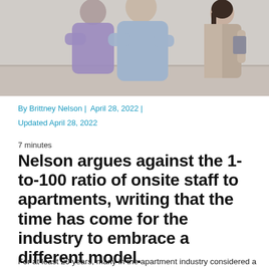[Figure (photo): Two people embracing from behind, one in a light blue hoodie and one in a purple top, with a woman in a grey blazer standing to the right in an interior setting.]
By Brittney Nelson |  April 28, 2022 |
Updated April 28, 2022
7 minutes
Nelson argues against the 1-to-100 ratio of onsite staff to apartments, writing that the time has come for the industry to embrace a different model.
For at least 20 years, many in the apartment industry considered a ratio of one team member for every 100 units